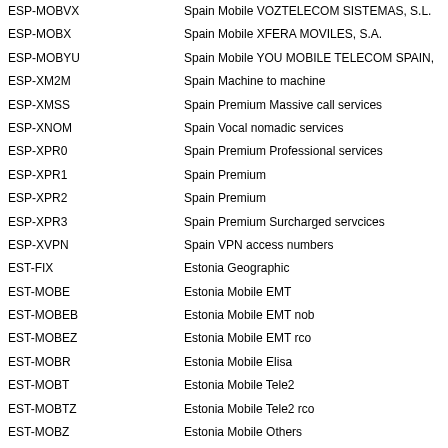| Code | Description |
| --- | --- |
| ESP-MOBVX | Spain Mobile VOZTELECOM SISTEMAS, S.L. |
| ESP-MOBX | Spain Mobile XFERA MOVILES, S.A. |
| ESP-MOBYU | Spain Mobile YOU MOBILE TELECOM SPAIN, |
| ESP-XM2M | Spain Machine to machine |
| ESP-XMSS | Spain Premium Massive call services |
| ESP-XNOM | Spain Vocal nomadic services |
| ESP-XPR0 | Spain Premium Professional services |
| ESP-XPR1 | Spain Premium |
| ESP-XPR2 | Spain Premium |
| ESP-XPR3 | Spain Premium Surcharged servcices |
| ESP-XVPN | Spain VPN access numbers |
| EST-FIX | Estonia Geographic |
| EST-MOBE | Estonia Mobile EMT |
| EST-MOBEB | Estonia Mobile EMT nob |
| EST-MOBEZ | Estonia Mobile EMT rco |
| EST-MOBR | Estonia Mobile Elisa |
| EST-MOBT | Estonia Mobile Tele2 |
| EST-MOBTZ | Estonia Mobile Tele2 rco |
| EST-MOBZ | Estonia Mobile Others |
| EST-XDAT | Estonia Data Services |
| EST-XEME | Estonia Nationwide Emergency Radio |
| EST-XFIX | Estonia Geographical Allocated |